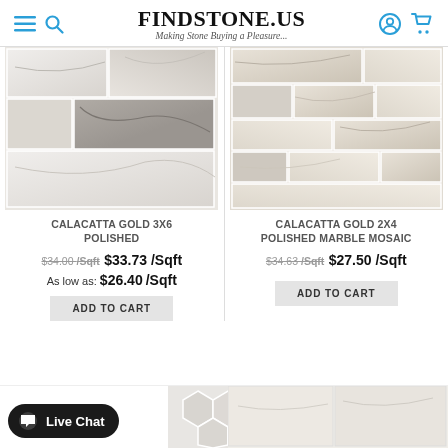FINDSTONE.US — Making Stone Buying a Pleasure...
[Figure (photo): Calacatta Gold 3x6 polished marble tile mosaic photo]
CALACATTA GOLD 3X6 POLISHED
$34.00 /Sqft  $33.73 /Sqft
As low as: $26.40 /Sqft
ADD TO CART
[Figure (photo): Calacatta Gold 2x4 polished marble mosaic tile photo]
CALACATTA GOLD 2X4 POLISHED MARBLE MOSAIC
$34.63 /Sqft  $27.50 /Sqft
ADD TO CART
[Figure (photo): Partial product image bottom left — hexagon tiles]
[Figure (photo): Partial product image bottom right — marble tiles]